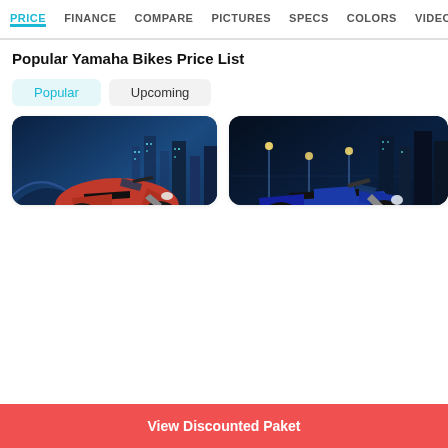PRICE  FINANCE  COMPARE  PICTURES  SPECS  COLORS  VIDEOS
Popular Yamaha Bikes Price List
Popular
Upcoming
[Figure (photo): Red Yamaha Nmax scooter on blue city night background]
Nmax
Rp 31,12 Million
OTR Price Jakarta Pusat
View Yamaha Nmax Price
[Figure (photo): Blue Yamaha MX King motorcycle on blue night city background]
MX King
Rp 25,18 - 25,58 Million
OTR Price Jakarta Pusat
View Yamaha MX King Price
View Discounted Paket